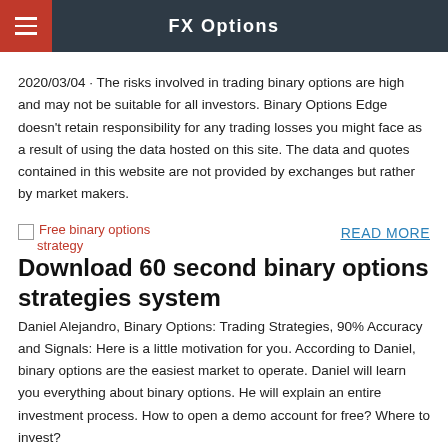FX Options
2020/03/04 · The risks involved in trading binary options are high and may not be suitable for all investors. Binary Options Edge doesn't retain responsibility for any trading losses you might face as a result of using the data hosted on this site. The data and quotes contained in this website are not provided by exchanges but rather by market makers.
[Figure (other): Broken image placeholder with red link text: Free binary options strategy]
READ MORE
Download 60 second binary options strategies system
Daniel Alejandro, Binary Options: Trading Strategies, 90% Accuracy and Signals: Here is a little motivation for you. According to Daniel, binary options are the easiest market to operate. Daniel will learn you everything about binary options. He will explain an entire investment process. How to open a demo account for free? Where to invest?